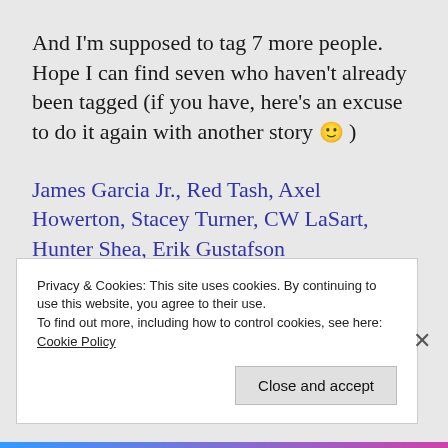And I'm supposed to tag 7 more people. Hope I can find seven who haven't already been tagged (if you have, here's an excuse to do it again with another story 🙂 )
James Garcia Jr., Red Tash, Axel Howerton, Stacey Turner, CW LaSart, Hunter Shea, Erik Gustafson
Privacy & Cookies: This site uses cookies. By continuing to use this website, you agree to their use.
To find out more, including how to control cookies, see here: Cookie Policy
[Close and accept]